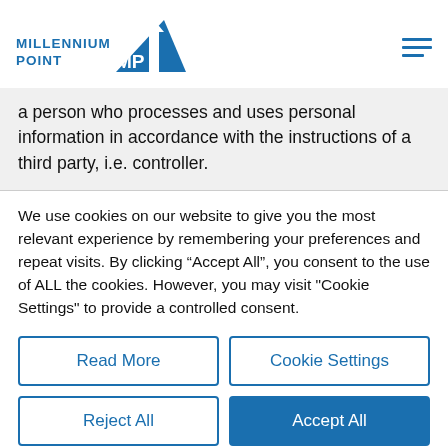[Figure (logo): Millennium Point logo with blue triangle/arrow graphic and 'MP' text, and text 'MILLENNIUM POINT' beside it]
a person who processes and uses personal information in accordance with the instructions of a third party, i.e. controller.
We use cookies on our website to give you the most relevant experience by remembering your preferences and repeat visits. By clicking “Accept All”, you consent to the use of ALL the cookies. However, you may visit "Cookie Settings" to provide a controlled consent.
Read More
Cookie Settings
Reject All
Accept All